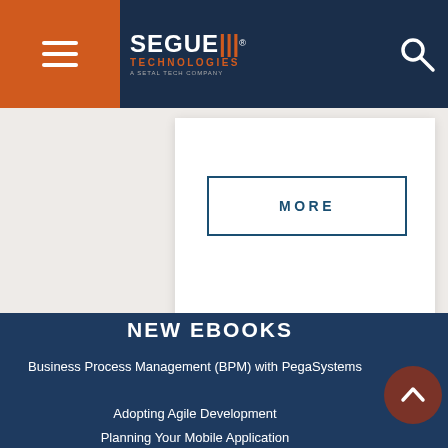Segue Technologies — Navigation Header
[Figure (screenshot): White card panel with a MORE button outlined in dark blue with text 'MORE' in capital letters with letter-spacing]
NEW EBOOKS
Business Process Management (BPM) with PegaSystems
Adopting Agile Development
Planning Your Mobile Application